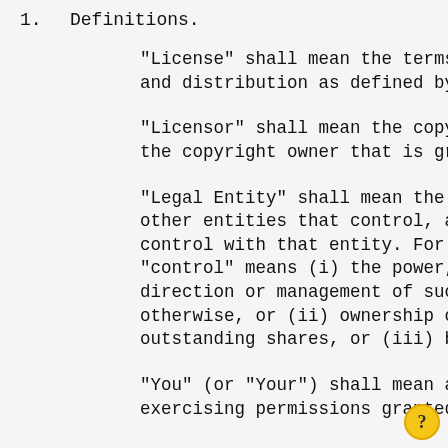1. Definitions.
"License" shall mean the terms and co
and distribution as defined by Sectio
"Licensor" shall mean the copyright o
the copyright owner that is granting
"Legal Entity" shall mean the union o
other entities that control, are cont
control with that entity. For the pur
"control" means (i) the power, direct
direction or management of such entit
otherwise, or (ii) ownership of fifty
outstanding shares, or (iii) benefici
"You" (or "Your") shall mean an indiv
exercising permissions granted by th